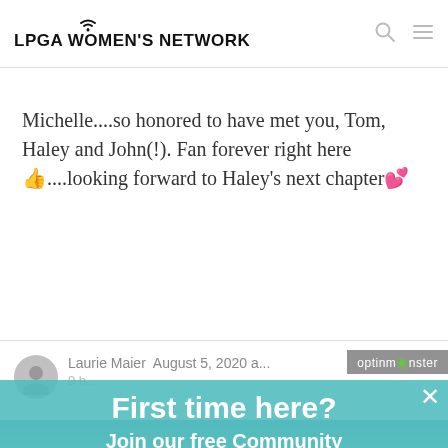LPGA WOMEN'S NETWORK
Michelle....so honored to have met you, Tom, Haley and John(!). Fan forever right here 👍....looking forward to Haley's next chapter💕
Laurie Maier August 5, 2020
[Figure (screenshot): OptinMonster popup overlay with 'First time here? Join our free Community' text, email input field, and SUBSCIRBE button over a teal/cyan background with a golf player photo]
First time here?
Join our free Community
Enter your email here...
SUBSCIRBE